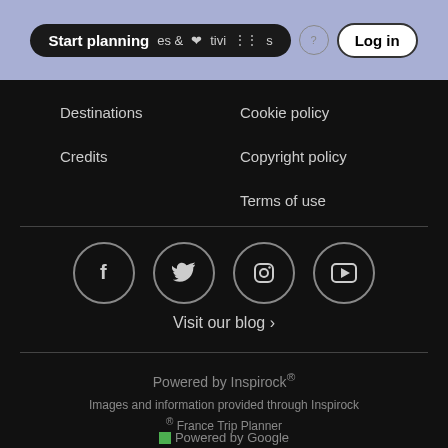[Figure (screenshot): Navigation header bar with 'Start planning' pill button, activity icons, help icon, and Log in button on light periwinkle background]
Destinations
Credits
Cookie policy
Copyright policy
Terms of use
[Figure (illustration): Social media icons: Facebook, Twitter (X), Instagram, YouTube — white icons in circular outlines on dark background]
Visit our blog ›
Powered by Inspirock®
Images and information provided through Inspirock ® France Trip Planner
Powered by Google